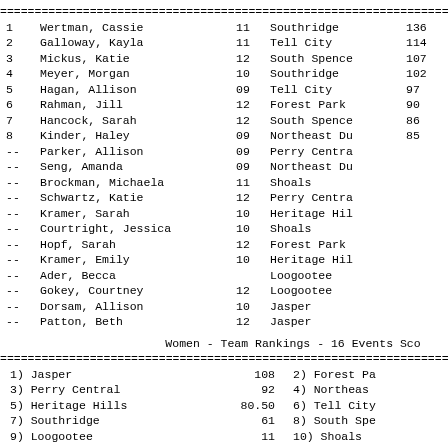| Rank | Name | Yr | School | Score |
| --- | --- | --- | --- | --- |
| 1 | Wertman, Cassie | 11 | Southridge | 130 |
| 2 | Galloway, Kayla | 11 | Tell City | 114 |
| 3 | Mickus, Katie | 12 | South Spence | 107 |
| 4 | Meyer, Morgan | 10 | Southridge | 102 |
| 5 | Hagan, Allison | 09 | Tell City | 97 |
| 6 | Rahman, Jill | 12 | Forest Park | 90 |
| 7 | Hancock, Sarah | 12 | South Spence | 86 |
| 8 | Kinder, Haley | 09 | Northeast Du | 85 |
| -- | Parker, Allison | 09 | Perry Centra |  |
| -- | Seng, Amanda | 09 | Northeast Du |  |
| -- | Brockman, Michaela | 11 | Shoals |  |
| -- | Schwartz, Katie | 12 | Perry Centra |  |
| -- | Kramer, Sarah | 10 | Heritage Hil |  |
| -- | Courtright, Jessica | 10 | Shoals |  |
| -- | Hopf, Sarah | 12 | Forest Park |  |
| -- | Kramer, Emily | 10 | Heritage Hil |  |
| -- | Ader, Becca |  | Loogootee |  |
| -- | Gokey, Courtney | 12 | Loogootee |  |
| -- | Dorsam, Allison | 10 | Jasper |  |
| -- | Patton, Beth | 12 | Jasper |  |
Women - Team Rankings - 16 Events Sco
| Rank | Team | Score | Rank | Team |
| --- | --- | --- | --- | --- |
| 1) | Jasper | 108 | 2) | Forest Pa |
| 3) | Perry Central | 92 | 4) | Northeas |
| 5) | Heritage Hills | 80.50 | 6) | Tell City |
| 7) | Southridge | 61 | 8) | South Spe |
| 9) | Loogootee | 11 | 10) | Shoals |